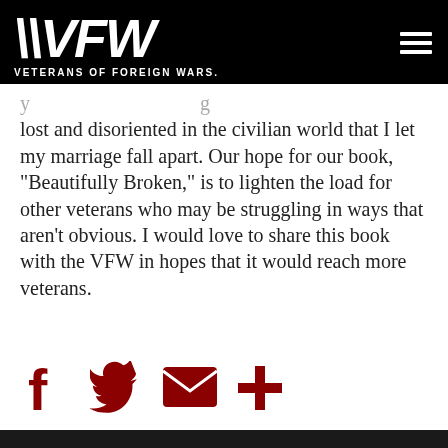VFW VETERANS OF FOREIGN WARS.
lost and disoriented in the civilian world that I let my marriage fall apart. Our hope for our book, “Beautifully Broken,” is to lighten the load for other veterans who may be struggling in ways that aren’t obvious. I would love to share this book with the VFW in hopes that it would reach more veterans.
[Figure (other): Social sharing icons: Facebook, Twitter, Email, and a plus/more button, rendered in dark red/maroon color.]